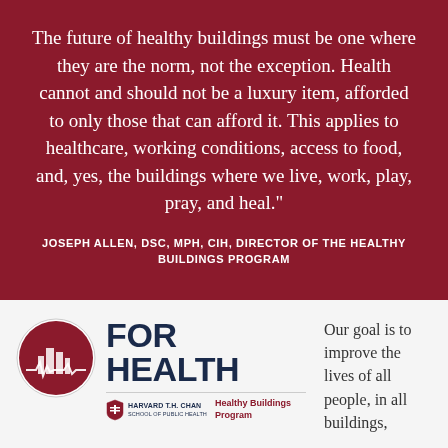The future of healthy buildings must be one where they are the norm, not the exception. Health cannot and should not be a luxury item, afforded to only those that can afford it. This applies to healthcare, working conditions, access to food, and, yes, the buildings where we live, work, play, pray, and heal."
JOSEPH ALLEN, DSC, MPH, CIH, DIRECTOR OF THE HEALTHY BUILDINGS PROGRAM
[Figure (logo): Circular logo with dark red background showing city skyline and heartbeat line, with FOR HEALTH text, Harvard T.H. Chan School of Public Health and Healthy Buildings Program branding]
Our goal is to improve the lives of all people, in all buildings,